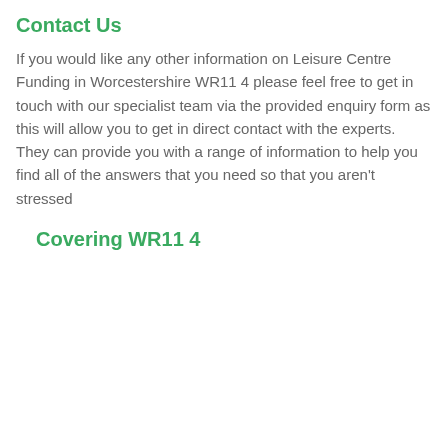Contact Us
If you would like any other information on Leisure Centre Funding in Worcestershire WR11 4 please feel free to get in touch with our specialist team via the provided enquiry form as this will allow you to get in direct contact with the experts. They can provide you with a range of information to help you find all of the answers that you need so that you aren't stressed
Covering WR11 4